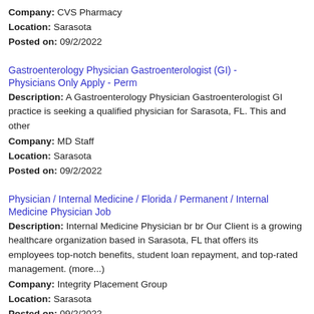Company: CVS Pharmacy
Location: Sarasota
Posted on: 09/2/2022
Gastroenterology Physician Gastroenterologist (GI) - Physicians Only Apply - Perm
Description: A Gastroenterology Physician Gastroenterologist GI practice is seeking a qualified physician for Sarasota, FL. This and other
Company: MD Staff
Location: Sarasota
Posted on: 09/2/2022
Physician / Internal Medicine / Florida / Permanent / Internal Medicine Physician Job
Description: Internal Medicine Physician br br Our Client is a growing healthcare organization based in Sarasota, FL that offers its employees top-notch benefits, student loan repayment, and top-rated management. (more...)
Company: Integrity Placement Group
Location: Sarasota
Posted on: 09/2/2022